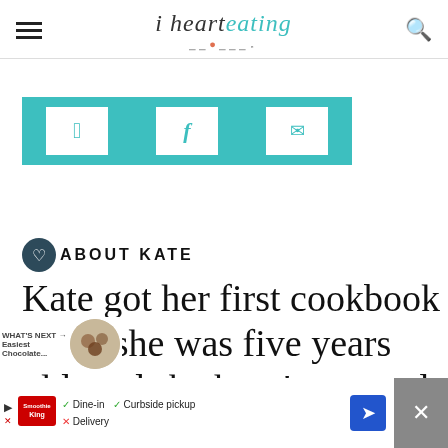[Figure (logo): i heart eating logo with cursive 'eating' in teal and fork/spoon decoration below]
[Figure (infographic): Teal social sharing bar with Pinterest, Facebook, and email icons as white square buttons]
ABOUT KATE
Kate got her first cookbook when she was five years old, and she hasn't stopped
[Figure (infographic): WHAT'S NEXT bar with thumbnail image labeled 'Easiest Chocolate...']
[Figure (infographic): Bottom ad bar: Smoothie King ad with Dine-in, Curbside pickup, Delivery options and navigation arrow]